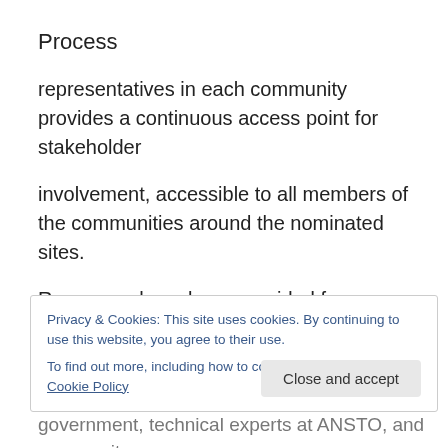Process
representatives in each community provides a continuous access point for stakeholder
involvement, accessible to all members of the communities around the nominated sites.
Resources have been provided for community stakeholders to gather information and
participate in the discussion, including in the form of tours
Privacy & Cookies: This site uses cookies. By continuing to use this website, you agree to their use. To find out more, including how to control cookies, see here: Cookie Policy
government, technical experts at ANSTO, and community